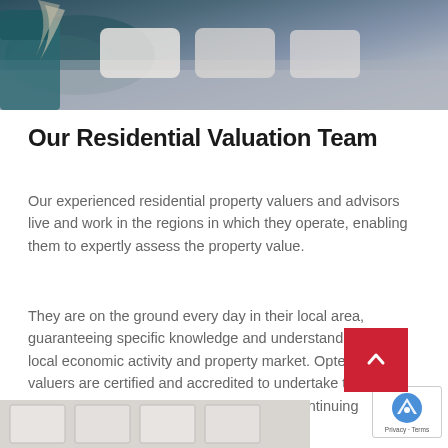[Figure (photo): Top portion of a bedroom photo showing a bed with blue/grey bedding and teal headboard with pillows]
Our Residential Valuation Team
Our experienced residential property valuers and advisors live and work in the regions in which they operate, enabling them to expertly assess the property value.
They are on the ground every day in their local area, guaranteeing specific knowledge and understanding of the local economic activity and property market. Opteon's valuers are certified and accredited to undertake the valuation; they also actively undertake a Continuing Professional Development progra…
[Figure (photo): Bottom strip showing partial view of a room/interior]